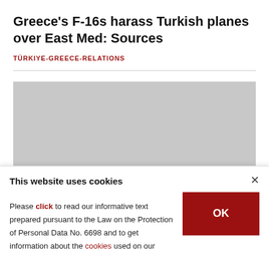Greece's F-16s harass Turkish planes over East Med: Sources
TÜRKIYE-GREECE-RELATIONS
[Figure (photo): Gray placeholder image for an article photo]
This website uses cookies
Please click to read our informative text prepared pursuant to the Law on the Protection of Personal Data No. 6698 and to get information about the cookies used on our